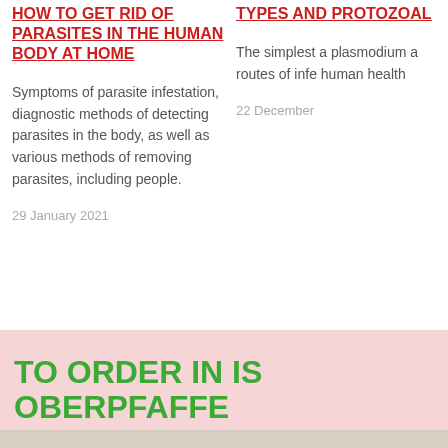HOW TO GET RID OF PARASITES IN THE HUMAN BODY AT HOME
Symptoms of parasite infestation, diagnostic methods of detecting parasites in the body, as well as various methods of removing parasites, including people.
29 January 2021
TYPES AND PROTOZOAL
The simplest a plasmodium a routes of infe human health
22 December
TO ORDER IN IS OBERPFAFFE TOXIC OFF